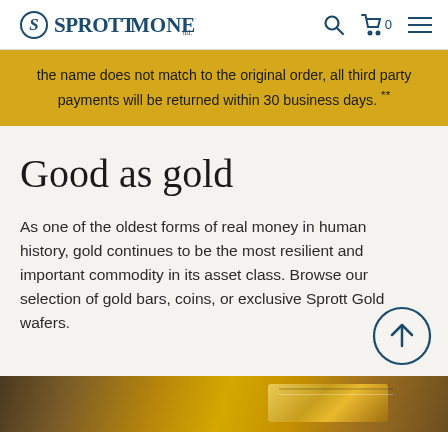SprottMoney
the name does not match to the original order, all third party payments will be returned within 30 business days. **
Good as gold
As one of the oldest forms of real money in human history, gold continues to be the most resilient and important commodity in its asset class. Browse our selection of gold bars, coins, or exclusive Sprott Gold wafers.
[Figure (photo): Bottom strip showing gold bars and coins]